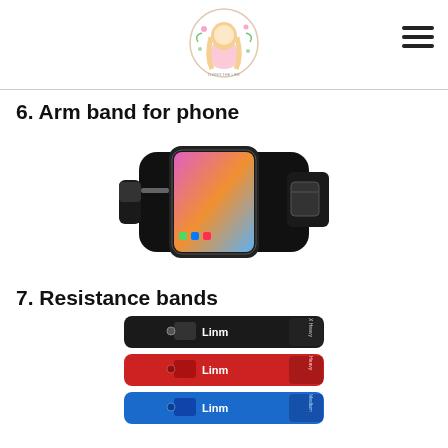[Figure (logo): Circular blog logo with illustrated girl with long blonde hair in a pink dress, surrounded by floral wreath, text around circle]
[Figure (illustration): Hamburger menu icon (three horizontal lines) in top right corner]
6. Arm band for phone
[Figure (photo): Black sports arm band for phone holding an iPhone X showing colorful home screen, with velcro strap and card pocket]
7. Resistance bands
[Figure (photo): Three Linm resistance bands stacked - black (X Heavy), red (Heavy), and blue (Medium), each with logo and label]